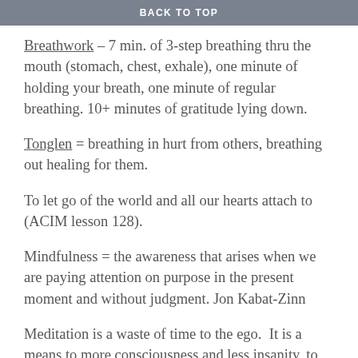BACK TO TOP
Breathwork – 7 min. of 3-step breathing thru the mouth (stomach, chest, exhale), one minute of holding your breath, one minute of regular breathing. 10+ minutes of gratitude lying down.
Tonglen = breathing in hurt from others, breathing out healing for them.
To let go of the world and all our hearts attach to (ACIM lesson 128).
Mindfulness = the awareness that arises when we are paying attention on purpose in the present moment and without judgment. Jon Kabat-Zinn
Meditation is a waste of time to the ego.  It is a means to more consciousness and less insanity, to more love and less fear and judgment. It's a way to freedom, to accept